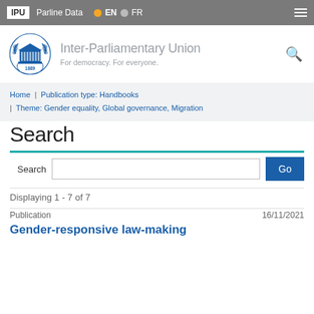IPU | Parline Data | EN | FR
[Figure (logo): Inter-Parliamentary Union logo with building and laurel wreath, year 1889]
Inter-Parliamentary Union
For democracy. For everyone.
Home | Publication type: Handbooks | Theme: Gender equality, Global governance, Migration
Search
Search [input field] Go
Displaying 1 - 7 of 7
Publication	16/11/2021
Gender-responsive law-making